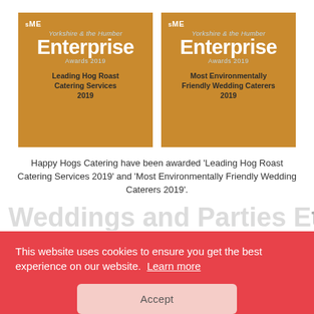[Figure (illustration): Two SME Yorkshire & the Humber Enterprise Awards 2019 badges on golden-brown background. Left badge: 'Leading Hog Roast Catering Services 2019'. Right badge: 'Most Environmentally Friendly Wedding Caterers 2019'.]
Happy Hogs Catering have been awarded 'Leading Hog Roast Catering Services 2019' and 'Most Environmentally Friendly Wedding Caterers 2019'.
Weddings and Parties Events
...the range make your mouth water, and wow guests with our amazing free range
This website uses cookies to ensure you get the best experience on our website.  Learn more
Accept